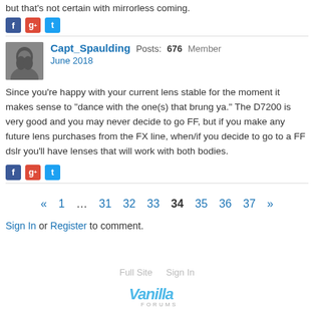but that's not certain with mirrorless coming.
[Figure (infographic): Social share icons: Facebook (blue), Google+ (red), Twitter (blue)]
Capt_Spaulding Posts: 676 Member
June 2018
Since you're happy with your current lens stable for the moment it makes sense to "dance with the one(s) that brung ya." The D7200 is very good and you may never decide to go FF, but if you make any future lens purchases from the FX line, when/if you decide to go to a FF dslr you'll have lenses that will work with both bodies.
[Figure (infographic): Social share icons: Facebook (blue), Google+ (red), Twitter (blue)]
« 1 … 31 32 33 34 35 36 37 »
Sign In or Register to comment.
Full Site   Sign In
[Figure (logo): Vanilla Forums logo]